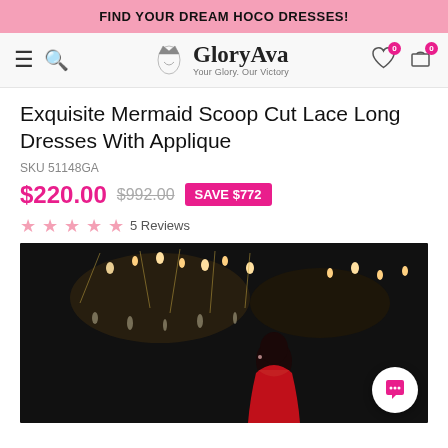FIND YOUR DREAM HOCO DRESSES!
[Figure (logo): GloryAva logo with crown and face silhouette, tagline: Your Glory. Our Victory]
Exquisite Mermaid Scoop Cut Lace Long Dresses With Applique
SKU 51148GA
$220.00  $992.00  SAVE $772
★★★★★ 5 Reviews
[Figure (photo): Woman in red backless mermaid lace dress standing in front of large crystal chandeliers in a dark setting, viewed from behind]